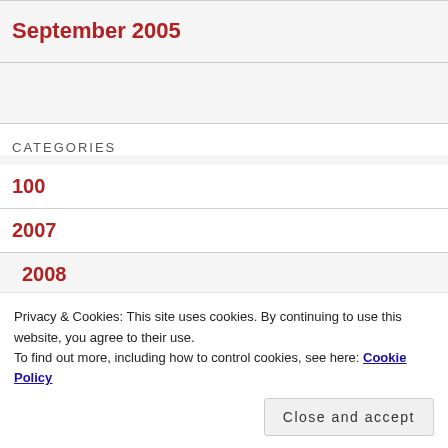September 2005
CATEGORIES
100
2007
2008
Privacy & Cookies: This site uses cookies. By continuing to use this website, you agree to their use.
To find out more, including how to control cookies, see here: Cookie Policy
2011